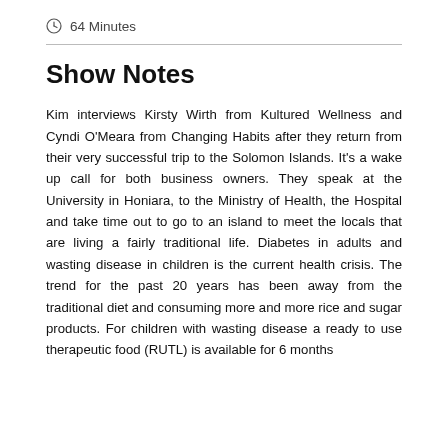64 Minutes
Show Notes
Kim interviews Kirsty Wirth from Kultured Wellness and Cyndi O'Meara from Changing Habits after they return from their very successful trip to the Solomon Islands. It's a wake up call for both business owners. They speak at the University in Honiara, to the Ministry of Health, the Hospital and take time out to go to an island to meet the locals that are living a fairly traditional life. Diabetes in adults and wasting disease in children is the current health crisis. The trend for the past 20 years has been away from the traditional diet and consuming more and more rice and sugar products. For children with wasting disease a ready to use therapeutic food (RUTL) is available for 6 months